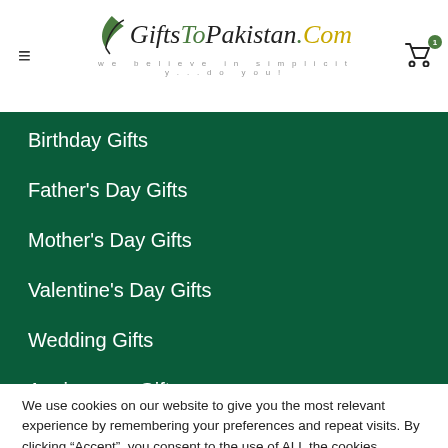GiftsToPakistan.Com — we believe in simplicity...do you!
Birthday Gifts
Father’s Day Gifts
Mother’s Day Gifts
Valentine’s Day Gifts
Wedding Gifts
Anniversary Gifts
Ramadan Gifts
We use cookies on our website to give you the most relevant experience by remembering your preferences and repeat visits. By clicking “Accept”, you consent to the use of ALL the cookies.
kie settings   ACCEPT